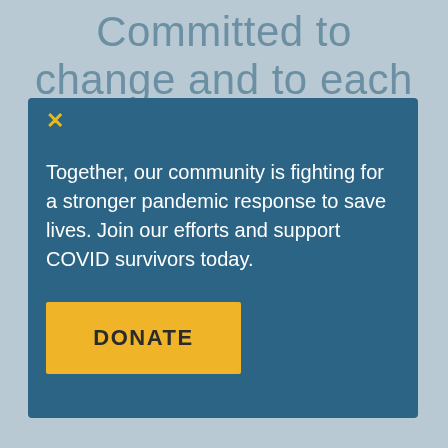Committed to change and to each other
Together, our community is fighting for a stronger pandemic response to save lives. Join our efforts and support COVID survivors today.
DONATE